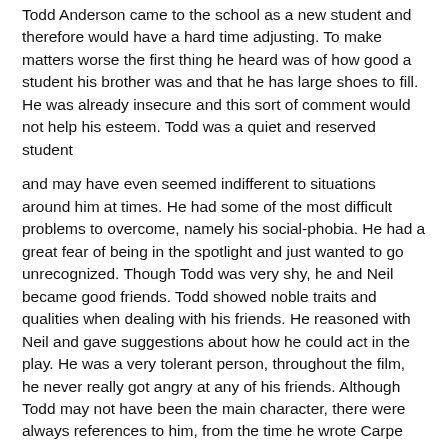Todd Anderson came to the school as a new student and therefore would have a hard time adjusting. To make matters worse the first thing he heard was of how good a student his brother was and that he has large shoes to fill. He was already insecure and this sort of comment would not help his esteem. Todd was a quiet and reserved student
and may have even seemed indifferent to situations around him at times. He had some of the most difficult problems to overcome, namely his social-phobia. He had a great fear of being in the spotlight and just wanted to go unrecognized. Though Todd was very shy, he and Neil became good friends. Todd showed noble traits and qualities when dealing with his friends. He reasoned with Neil and gave suggestions about how he could act in the play. He was a very tolerant person, throughout the film, he never really got angry at any of his friends. Although Todd may not have been the main character, there were always references to him, from the time he wrote Carpe Diem in his notebook, to when he was sitting in the back at the society s meetings. Todd wrote poetry for class and was very
personal about it, but when he was asked to read it aloud, he said he had none. Also he refused to read at the society meetings. Keating made him come to the front of the classroom anyway and helped him